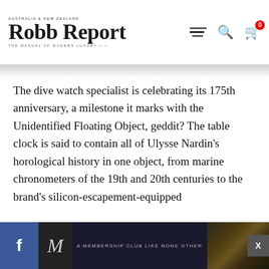Robb Report | Australia & New Zealand | The Manual of Modern Luxury
The dive watch specialist is celebrating its 175th anniversary, a milestone it marks with the Unidentified Floating Object, geddit? The table clock is said to contain all of Ulysse Nardin's horological history in one object, from marine chronometers of the 19th and 20th centuries to the brand's silicon-escapement-equipped
[Figure (screenshot): Bottom advertisement bar with Facebook share button, M logo membership club ad with interior photo, and X close button]